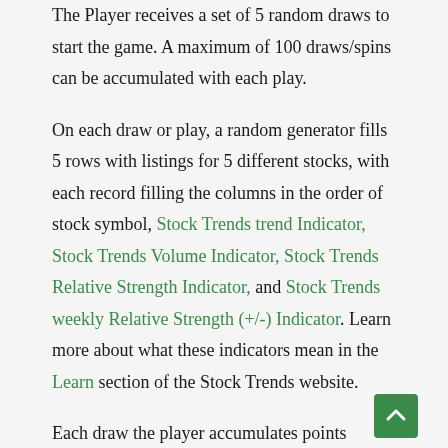The Player receives a set of 5 random draws to start the game. A maximum of 100 draws/spins can be accumulated with each play.
On each draw or play, a random generator fills 5 rows with listings for 5 different stocks, with each record filling the columns in the order of stock symbol, Stock Trends trend Indicator, Stock Trends Volume Indicator, Stock Trends Relative Strength Indicator, and Stock Trends weekly Relative Strength (+/-) Indicator. Learn more about what these indicators mean in the Learn section of the Stock Trends website.
Each draw the player accumulates points and/or free plays with matching columns and rows, as